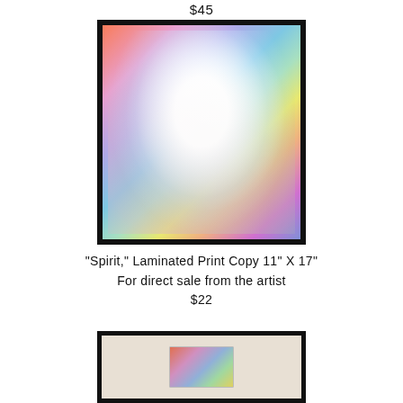$45
[Figure (illustration): Abstract colorful artwork titled Spirit in a black frame, with swirling pastel colors of pink, blue, purple, yellow, green, orange surrounding a bright white central glow.]
"Spirit," Laminated Print Copy 11" X 17"
For direct sale from the artist
$22
[Figure (photo): A tote bag with a small colorful print of the Spirit artwork on it, shown inside a black frame.]